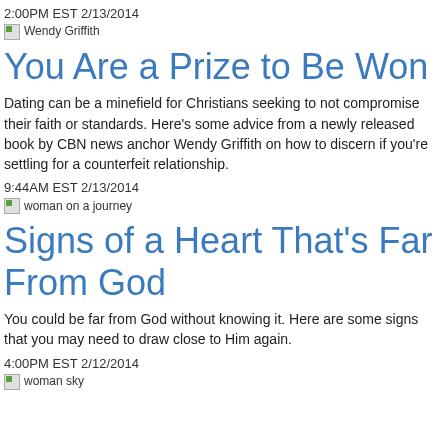2:00PM EST 2/13/2014
[Figure (photo): Thumbnail image of Wendy Griffith with broken image placeholder text]
You Are a Prize to Be Won
Dating can be a minefield for Christians seeking to not compromise their faith or standards. Here's some advice from a newly released book by CBN news anchor Wendy Griffith on how to discern if you're settling for a counterfeit relationship.
9:44AM EST 2/13/2014
[Figure (photo): Thumbnail image with broken image placeholder text: woman on a journey]
Signs of a Heart That's Far From God
You could be far from God without knowing it. Here are some signs that you may need to draw close to Him again.
4:00PM EST 2/12/2014
[Figure (photo): Thumbnail image with broken image placeholder text: woman sky]